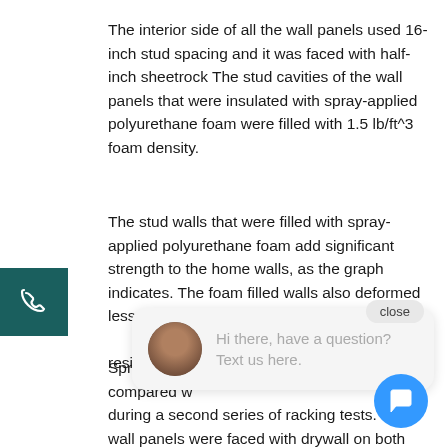The interior side of all the wall panels used 16-inch stud spacing and it was faced with half-inch sheetrock The stud cavities of the wall panels that were insulated with spray-applied polyurethane foam were filled with 1.5 lb/ft^3 foam density.
The stud walls that were filled with spray-applied polyurethane foam add significant strength to the home walls, as the graph indicates. The foam filled walls also deformed less with each load that was applied, and, additionally, the walls offered greater resilience.
Spray-applied compared with during a second series of racking tests. The wall panels were faced with drywall on both sides during one comparison, and the wall panels were faced with drywall on one side and OSB (oriented